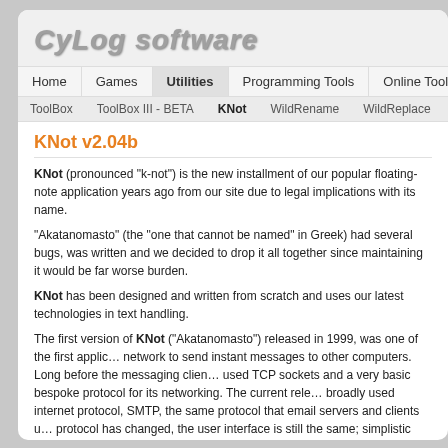CyLog software
Home | Games | Utilities | Programming Tools | Online Tools
ToolBox | ToolBox III - BETA | KNot | WildRename | WildReplace | FolderIc…
KNot v2.04b
KNot (pronounced "k-not") is the new installment of our popular floating-note application years ago from our site due to legal implications with its name.
"Akatanomasto" (the "one that cannot be named" in Greek) had several bugs, was written and we decided to drop it all together since maintaining it would be far worse burden.
KNot has been designed and written from scratch and uses our latest technologies in text handling.
The first version of KNot ("Akatanomasto") released in 1999, was one of the first applications to use a network to send instant messages to other computers. Long before the messaging clients used TCP sockets and a very basic bespoke protocol for its networking. The current release uses the broadly used internet protocol, SMTP, the same protocol that email servers and clients use. Although the protocol has changed, the user interface is still the same; simplistic and easy to use. Just type in the name of the computer you want to send the message to and make sure that the other machine is running KNot and waiting for messages.
Features:
Multiple colourful notes floating on your desktop
Minimized to a 17x17 pixel square
Send your notes to other computers in your local network